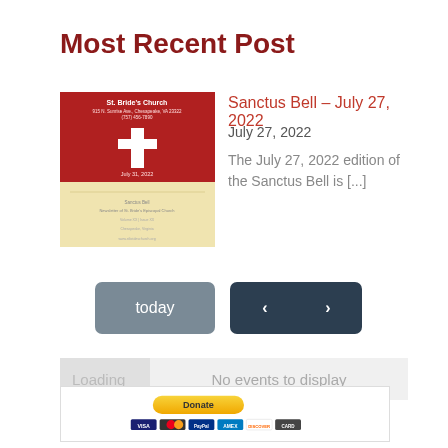Most Recent Post
[Figure (illustration): Thumbnail image of St. Bride's Church newsletter/bulletin cover with red background and cross icon]
Sanctus Bell – July 27, 2022
July 27, 2022
The July 27, 2022 edition of the Sanctus Bell is [...]
[Figure (screenshot): Calendar navigation buttons: 'today' button and left/right arrow navigation buttons]
Loading
No events to display
[Figure (infographic): PayPal Donate button with credit card icons (Visa, Mastercard, PayPal, Amex, Discover, and other)]